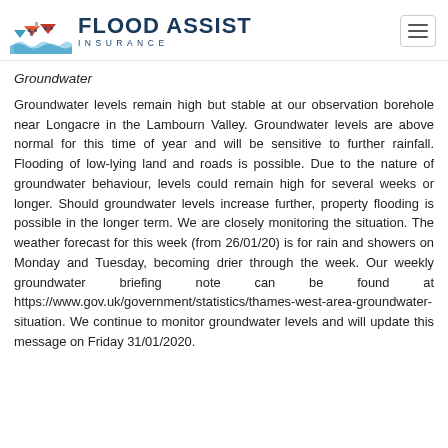FLOOD ASSIST INSURANCE
Groundwater
Groundwater levels remain high but stable at our observation borehole near Longacre in the Lambourn Valley. Groundwater levels are above normal for this time of year and will be sensitive to further rainfall. Flooding of low-lying land and roads is possible. Due to the nature of groundwater behaviour, levels could remain high for several weeks or longer. Should groundwater levels increase further, property flooding is possible in the longer term. We are closely monitoring the situation. The weather forecast for this week (from 26/01/20) is for rain and showers on Monday and Tuesday, becoming drier through the week. Our weekly groundwater briefing note can be found at https://www.gov.uk/government/statistics/thames-west-area-groundwater-situation. We continue to monitor groundwater levels and will update this message on Friday 31/01/2020.